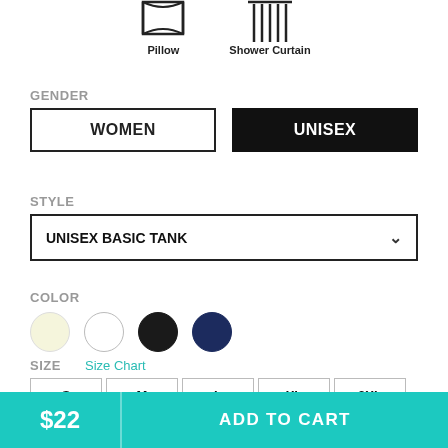[Figure (illustration): Icons of Pillow and Shower Curtain products]
GENDER
WOMEN
UNISEX
STYLE
UNISEX BASIC TANK
COLOR
[Figure (illustration): Four color swatches: cream, white, black, navy]
SIZE
Size Chart
S
M
L
XL
2XL
$22
ADD TO CART